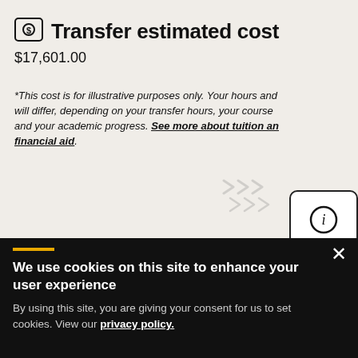Transfer estimated cost
$17,601.00
*This cost is for illustrative purposes only. Your hours and will differ, depending on your transfer hours, your course and your academic progress. See more about tuition and financial aid.
[Figure (illustration): Info icon in white rounded rectangle, and teal clipboard icon with checkmark, with gray arrow chevrons pointing right]
We use cookies on this site to enhance your user experience
By using this site, you are giving your consent for us to set cookies. View our privacy policy.